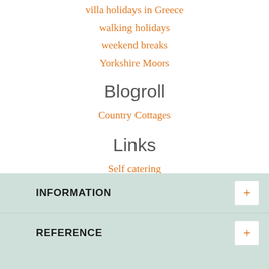villa holidays in Greece
walking holidays
weekend breaks
Yorkshire Moors
Blogroll
Country Cottages
Links
Self catering accommodation
INFORMATION
REFERENCE